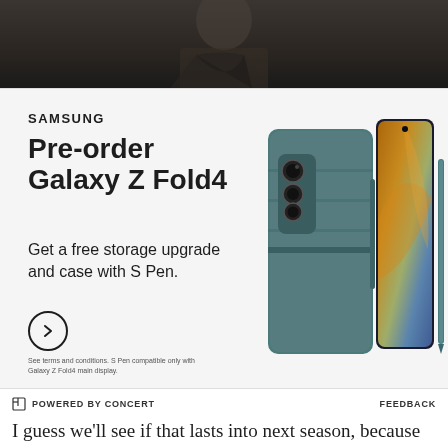[Figure (photo): Dark blurry photo of a person wearing a jacket, top portion of advertisement]
[Figure (illustration): Samsung advertisement: Pre-order Galaxy Z Fold4. Get a free storage upgrade and case with S Pen. Shows teal/grey Galaxy Z Fold4 phone with case and S Pen stylus.]
SAMSUNG
Pre-order Galaxy Z Fold4
Get a free storage upgrade and case with S Pen.
See terms and conditions. S Pen compatible only with Galaxy Z Fold4 main display.
POWERED BY CONCERT    FEEDBACK
I guess we'll see if that lasts into next season, because